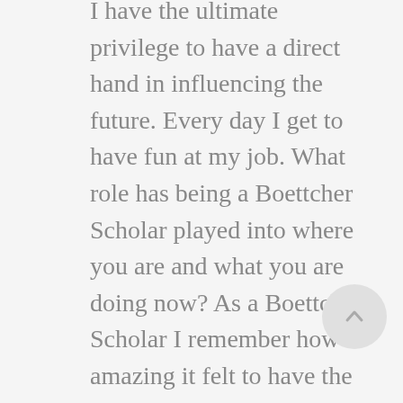I have the ultimate privilege to have a direct hand in influencing the future. Every day I get to have fun at my job. What role has being a Boettcher Scholar played into where you are and what you are doing now? As a Boettcher Scholar I remember how amazing it felt to have the social and financial support of such an incredible organization as I began my own college career. Now that I teach in a Colorado high school, the topic of higher education is constantly addressed, and I feel like it is an honor and duty to help my students prepare for their future. I always feel an overwhelming sense